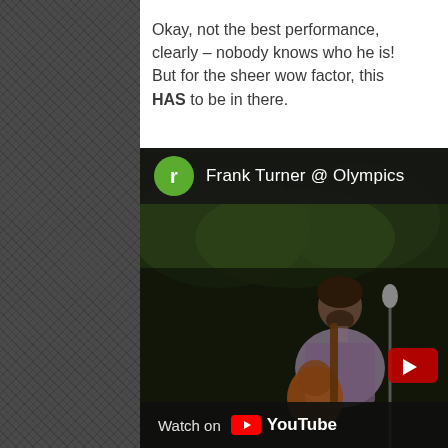Okay, not the best performance, clearly – nobody knows who he is! But for the sheer wow factor, this HAS to be in there.
[Figure (screenshot): YouTube embed showing 'Frank Turner @ Olympics' with a green avatar circle with letter 'r', person playing guitar in dark outdoor setting, Watch on YouTube footer]